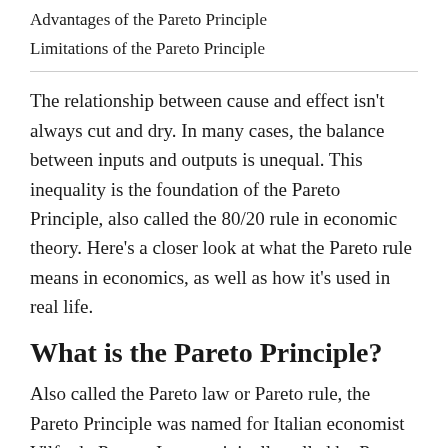Advantages of the Pareto Principle
Limitations of the Pareto Principle
The relationship between cause and effect isn't always cut and dry. In many cases, the balance between inputs and outputs is unequal. This inequality is the foundation of the Pareto Principle, also called the 80/20 rule in economic theory. Here's a closer look at what the Pareto rule means in economics, as well as how it's used in real life.
What is the Pareto Principle?
Also called the Pareto law or Pareto rule, the Pareto Principle was named for Italian economist Vilfredo Pareto. It was originally called by Pareto to show...